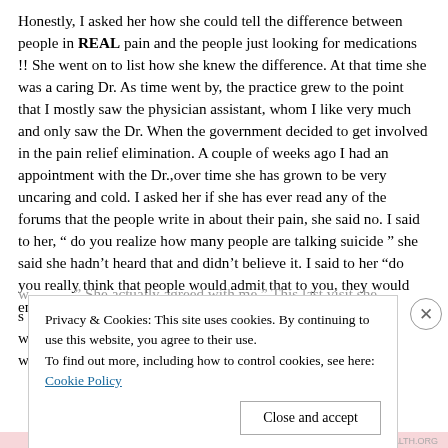Honestly, I asked her how she could tell the difference between people in REAL pain and the people just looking for medications !! She went on to list how she knew the difference. At that time she was a caring Dr. As time went by, the practice grew to the point that I mostly saw the physician assistant, whom I like very much and only saw the Dr. When the government decided to get involved in the pain relief elimination. A couple of weeks ago I had an appointment with the Dr.,over time she has grown to be very uncaring and cold. I asked her if she has ever read any of the forums that the people write in about their pain, she said no. I said to her, “ do you realize how many people are talking suicide ” she said she hadn’t heard that and didn’t believe it. I said to her “do you really think that people would admit that to you, they would end up in the w...
Privacy & Cookies: This site uses cookies. By continuing to use this website, you agree to their use.
To find out more, including how to control cookies, see here:
Cookie Policy
Close and accept